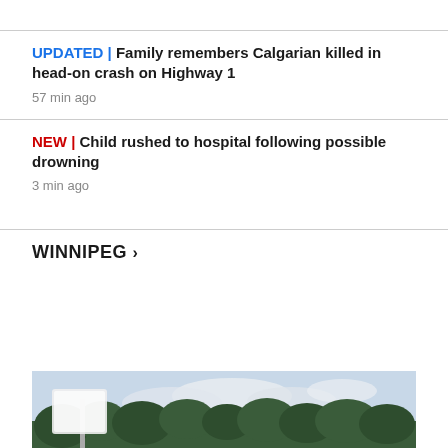UPDATED | Family remembers Calgarian killed in head-on crash on Highway 1
57 min ago
NEW | Child rushed to hospital following possible drowning
3 min ago
WINNIPEG >
[Figure (photo): Outdoor scene with trees, cloudy sky, and a blurred road sign in the foreground]